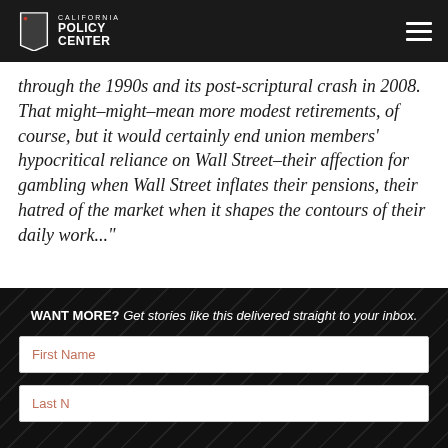California Policy Center
through the 1990s and its post-scriptural crash in 2008. That might–might–mean more modest retirements, of course, but it would certainly end union members' hypocritical reliance on Wall Street–their affection for gambling when Wall Street inflates their pensions, their hatred of the market when it shapes the contours of their daily work..."
WANT MORE? Get stories like this delivered straight to your inbox.
First Name
Last Name